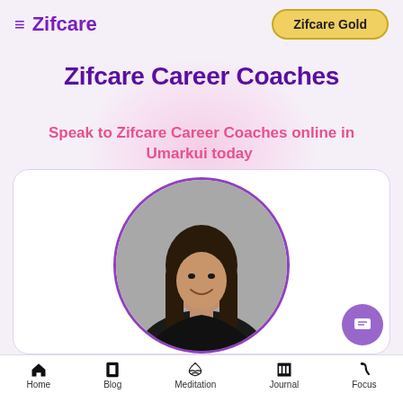≡ Zifcare | Zifcare Gold
Zifcare Career Coaches
Speak to Zifcare Career Coaches online in Umarkui today 🏅
[Figure (photo): Circular portrait photo of a woman with long dark hair, smiling, wearing a dark top, against a grey background. Shown inside a rounded card.]
Home | Blog | Meditation | Journal | Focus